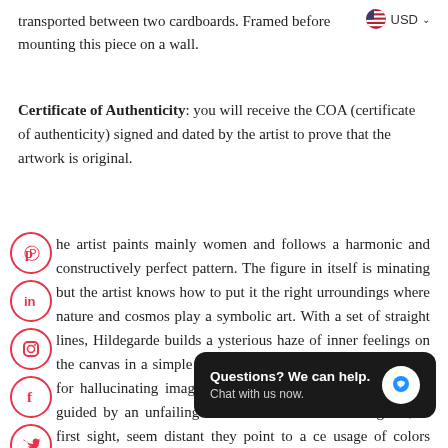transported between two cardboards. Framed before mounting this piece on a wall.
Certificate of Authenticity: you will receive the COA (certificate of authenticity) signed and dated by the artist to prove that the artwork is original.
he artist paints mainly women and follows a harmonic and constructively perfect pattern. The figure in itself is minating but the artist knows how to put it the right urroundings where nature and cosmos play a symbolic art. With a set of straight lines, Hildegarde builds a ysterious haze of inner feelings on the canvas in a simple but penetrative way. She does not call for hallucinating images bet lets herself go with sensitivity guided by an unfailing intuition. Even when the figures, at first sight, seem distant they point to a ce usage of colors express an honest and the deeper thoughts.